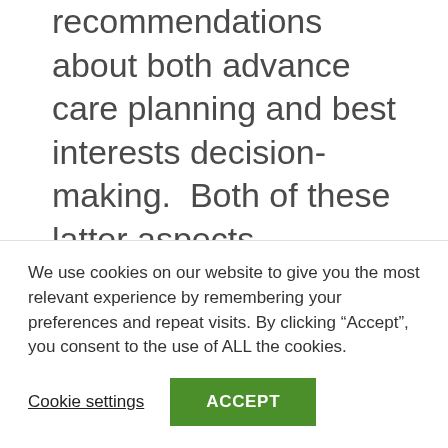recommendations about both advance care planning and best interests decision-making.  Both of these latter aspects constitute important parts of the framework for the support of the exercise of legal capacity mandated by Article 12 CRPD, and it is very
We use cookies on our website to give you the most relevant experience by remembering your preferences and repeat visits. By clicking “Accept”, you consent to the use of ALL the cookies.
Cookie settings
ACCEPT